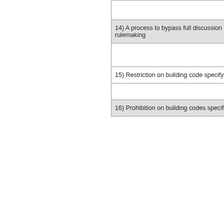| 14) A process to bypass full discussion of efficiency needs in future rulemaking |
|  |
| 15) Restriction on building code specifying efficiency in new construction |
| 16) Prohibition on building codes specifying efficiency for replacements. |
List of Previous Entries
9/24/14   On the B...
9/10/14   Achievin...
7/9/2014   "Unprec...
6/18/2014   "Billing... Readers...
5/1/2014   "John P... Industry...
4/8/2014   "It's Tim...